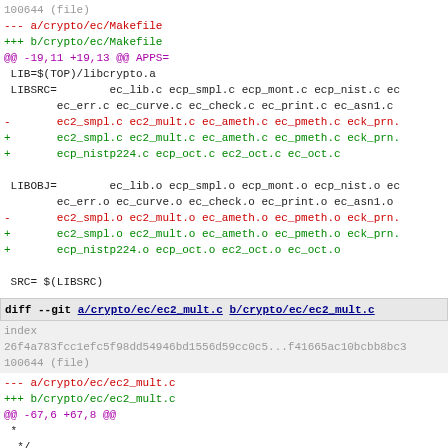100644 (file)
--- a/crypto/ec/Makefile
+++ b/crypto/ec/Makefile
@@ -19,11 +19,13 @@ APPS=
 LIB=$(TOP)/libcrypto.a
 LIBSRC=        ec_lib.c ecp_smpl.c ecp_mont.c ecp_nist.c ec...
        ec_err.c ec_curve.c ec_check.c ec_print.c ec_asn1.c...
-       ec2_smpl.c ec2_mult.c ec_ameth.c ec_pmeth.c eck_prn...
+       ec2_smpl.c ec2_mult.c ec_ameth.c ec_pmeth.c eck_prn...
+       ecp_nistp224.c ecp_oct.c ec2_oct.c ec_oct.c

 LIBOBJ=        ec_lib.o ecp_smpl.o ecp_mont.o ecp_nist.o ec...
        ec_err.o ec_curve.o ec_check.o ec_print.o ec_asn1.o...
-       ec2_smpl.o ec2_mult.o ec_ameth.o ec_pmeth.o eck_prn...
+       ec2_smpl.o ec2_mult.o ec_ameth.o ec_pmeth.o eck_prn...
+       ecp_nistp224.o ecp_oct.o ec2_oct.o ec_oct.o

 SRC= $(LIBSRC)
diff --git a/crypto/ec/ec2_mult.c b/crypto/ec/ec2_mult.c
index
26f4a783fcc1efc5f98dd54946bd1556d59cc0c5...f41665ac10bcbb8bc3...
100644 (file)
--- a/crypto/ec/ec2_mult.c
+++ b/crypto/ec/ec2_mult.c
@@ -67,6 +67,8 @@
 * 
 */

+#define OPENSSL_FIPSAPI
+